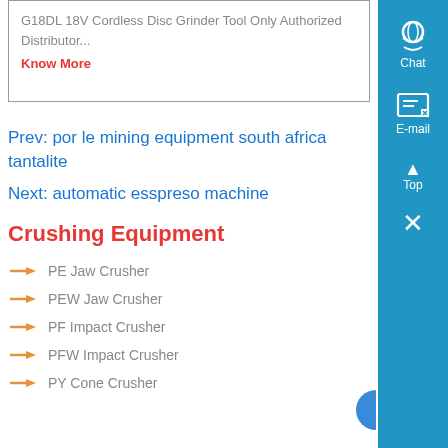G18DL 18V Cordless Disc Grinder Tool Only Authorized Distributor...
Know More
Prev: por le mining equipment south africa tantalite
Next: automatic esspreso machine
Crushing Equipment
PE Jaw Crusher
PEW Jaw Crusher
PF Impact Crusher
PFW Impact Crusher
PY Cone Crusher